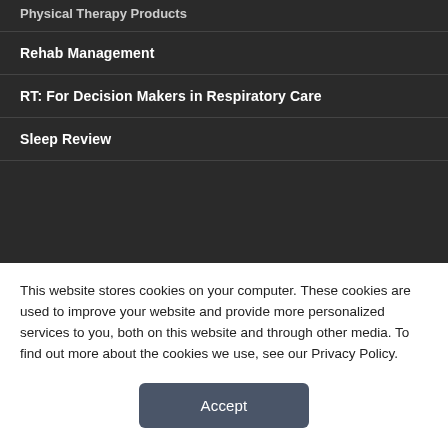Physical Therapy Products
Rehab Management
RT: For Decision Makers in Respiratory Care
Sleep Review
RESOURCES
This website stores cookies on your computer. These cookies are used to improve your website and provide more personalized services to you, both on this website and through other media. To find out more about the cookies we use, see our Privacy Policy.
Accept